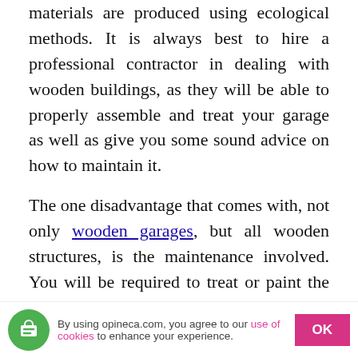materials are produced using ecological methods. It is always best to hire a professional contractor in dealing with wooden buildings, as they will be able to properly assemble and treat your garage as well as give you some sound advice on how to maintain it.
The one disadvantage that comes with, not only wooden garages, but all wooden structures, is the maintenance involved. You will be required to treat or paint the garage regularly to ensure it is weather-proof, and mold and rot free. Garage doors need close attention at all times, when they are not maintained and looked after, they will become an easy access point for thieves and will compromise the security of
By using opineca.com, you agree to our use of cookies to enhance your experience.